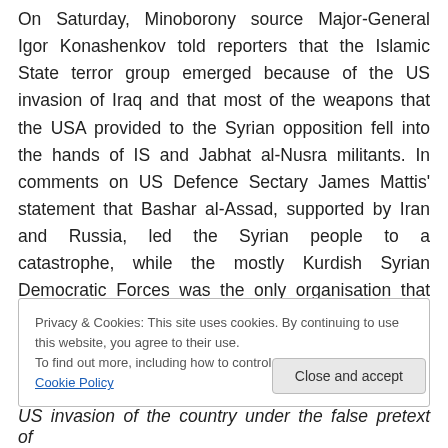On Saturday, Minoborony source Major-General Igor Konashenkov told reporters that the Islamic State terror group emerged because of the US invasion of Iraq and that most of the weapons that the USA provided to the Syrian opposition fell into the hands of IS and Jabhat al-Nusra militants. In comments on US Defence Sectary James Mattis' statement that Bashar al-Assad, supported by Iran and Russia, led the Syrian people to a catastrophe, while the mostly Kurdish Syrian Democratic Forces was the only organisation that succeeded in defeating terrorists in Syria, Konashenkov said:
Privacy & Cookies: This site uses cookies. By continuing to use this website, you agree to their use.
To find out more, including how to control cookies, see here: Cookie Policy
Close and accept
US invasion of the country under the false pretext of